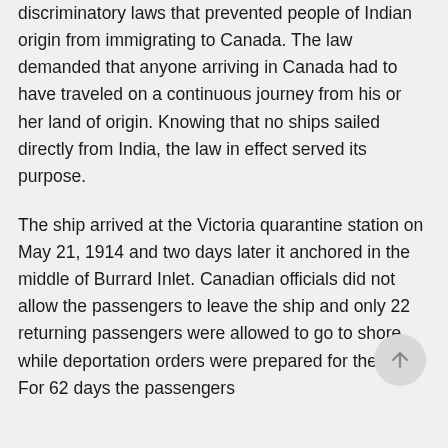discriminatory laws that prevented people of Indian origin from immigrating to Canada. The law demanded that anyone arriving in Canada had to have traveled on a continuous journey from his or her land of origin. Knowing that no ships sailed directly from India, the law in effect served its purpose.
The ship arrived at the Victoria quarantine station on May 21, 1914 and two days later it anchored in the middle of Burrard Inlet. Canadian officials did not allow the passengers to leave the ship and only 22 returning passengers were allowed to go to shore, while deportation orders were prepared for the rest. For 62 days the passengers